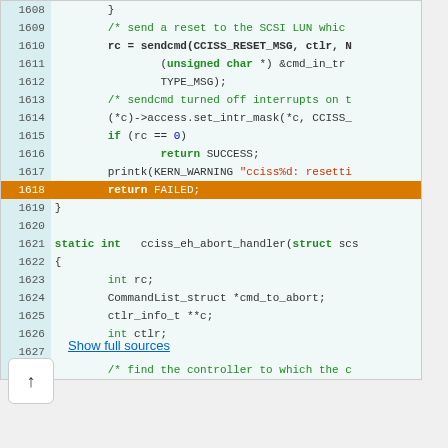[Figure (screenshot): Source code viewer showing lines 1608-1628 of a C file with syntax highlighting. Line 1618 is highlighted in orange showing 'return FAILED;'. Code includes sendcmd(), CCISS_RESET_MSG, interrupt handling, and cciss_eh_abort_handler function definition.]
Show full sources